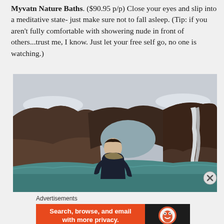Myvatn Nature Baths. ($90.95 p/p) Close your eyes and slip into a meditative state- just make sure not to fall asleep. (Tip: if you aren't fully comfortable with showering nude in front of others...trust me, I know. Just let your free self go, no one is watching.)
[Figure (photo): Woman smiling in front of rocky canyon with waterfall and turquoise water in a cold outdoor landscape, likely Iceland.]
Advertisements
[Figure (screenshot): DuckDuckGo advertisement banner: 'Search, browse, and email with more privacy. All in One Free App' with DuckDuckGo logo on dark right side.]